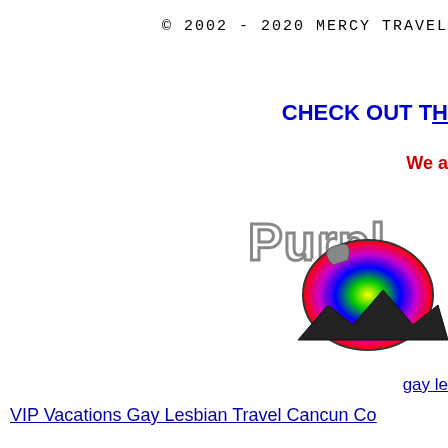© 2002 - 2020 MERCY TRAVEL
CHECK OUT TH
We a
[Figure (logo): Purple Rooster travel logo with rainbow colored rooster graphic and mountain silhouette]
gay le
VIP Vacations Gay Lesbian Travel Cancun Co
Read some mercy travel re
See more  mercy travel re